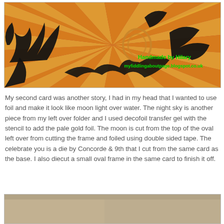[Figure (photo): Close-up photo of a handmade craft card with black die-cut foliage and swirl designs over a red and yellow sunburst background. Green text overlay reads 'Handmade by Hilary myfiddlingaboutpage.blogspot.co.uk']
My second card was another story, I had in my head that I wanted to use foil and make it look like moon light over water. The night sky is another piece from my left over folder and I used decofoil transfer gel with the stencil to add the pale gold foil. The moon is cut from the top of the oval left over from cutting the frame and foiled using double sided tape. The celebrate you is a die by Concorde & 9th that I cut from the same card as the base. I also diecut a small oval frame in the same card to finish it off.
[Figure (photo): Partial view of another handmade card with a textured beige/tan background visible at the bottom of the page.]